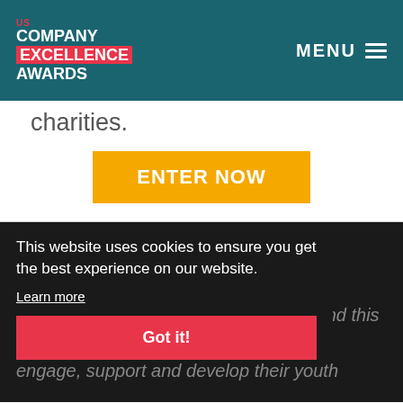US COMPANY EXCELLENCE AWARDS | MENU
charities.
ENTER NOW
NEXT GENERATION INITIATIVE
This website uses cookies to ensure you get the best experience on our website.
Learn more
Got it!
Young talent is the future of business and this award celebrates initiatives tha engage, support and develop their youth